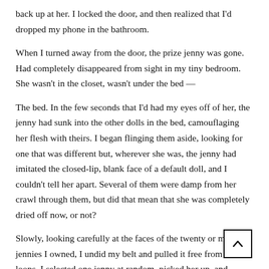back up at her. I locked the door, and then realized that I'd dropped my phone in the bathroom.
When I turned away from the door, the prize jenny was gone. Had completely disappeared from sight in my tiny bedroom. She wasn't in the closet, wasn't under the bed —
The bed. In the few seconds that I'd had my eyes off of her, the jenny had sunk into the other dolls in the bed, camouflaging her flesh with theirs. I began flinging them aside, looking for one that was different but, wherever she was, the jenny had imitated the closed-lip, blank face of a default doll, and I couldn't tell her apart. Several of them were damp from her crawl through them, but did that mean that she was completely dried off now, or not?
Slowly, looking carefully at the faces of the twenty or more jennies I owned, I undid my belt and pulled it free from its loops. I selected one jenny at random, picked her up, and slapped the belt against her belly.